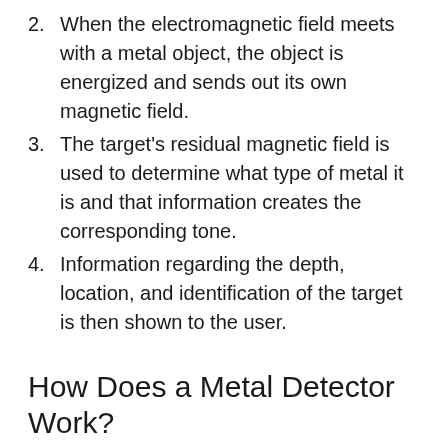2. When the electromagnetic field meets with a metal object, the object is energized and sends out its own magnetic field.
3. The target's residual magnetic field is used to determine what type of metal it is and that information creates the corresponding tone.
4. Information regarding the depth, location, and identification of the target is then shown to the user.
How Does a Metal Detector Work?
Reading through our buyer's guide may have given you insight into how metal detectors